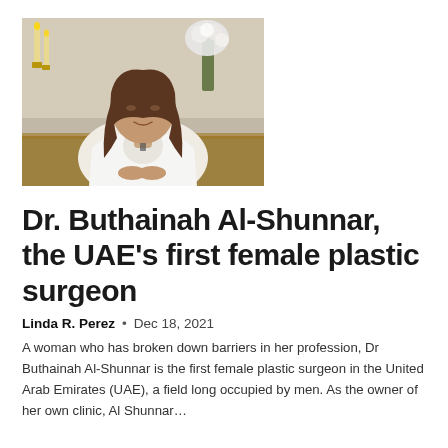[Figure (photo): A woman with long brown hair wearing a white blazer, sitting at a table, with candles and flowers in the background.]
Dr. Buthainah Al-Shunnar, the UAE's first female plastic surgeon
Linda R. Perez  •  Dec 18, 2021
A woman who has broken down barriers in her profession, Dr Buthainah Al-Shunnar is the first female plastic surgeon in the United Arab Emirates (UAE), a field long occupied by men. As the owner of her own clinic, Al Shunnar...